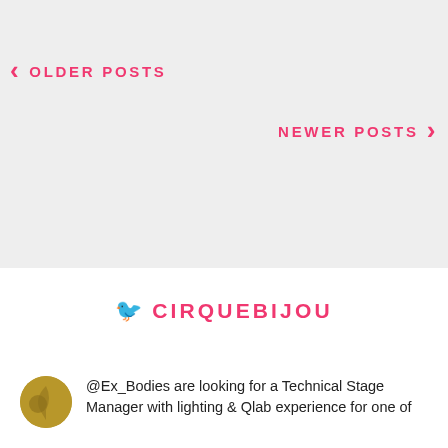< OLDER POSTS
NEWER POSTS >
CIRQUEBIJOU
@Ex_Bodies are looking for a Technical Stage Manager with lighting & Qlab experience for one of